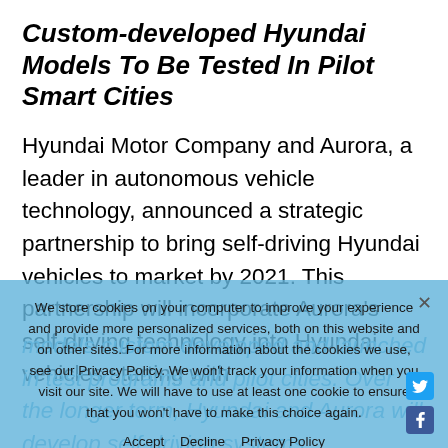Custom-developed Hyundai Models To Be Tested In Pilot Smart Cities
Hyundai Motor Company and Aurora, a leader in autonomous vehicle technology, announced a strategic partnership to bring self-driving Hyundai vehicles to market by 2021. This partnership will incorporate Aurora's self-driving technology into Hyundai vehicles starting with models custom-developed and launched in test programs and pilot cities. Over the longer term, Hyundai and Aurora will develop self-driving systems...
To start, the partnership will focus on the ongoing development of hardware and sof...
We store cookies on your computer to improve your experience and provide more personalized services, both on this website and on other sites. For more information about the cookies we use, see our Privacy Policy. We won't track your information when you visit our site. We will have to use at least one cookie to ensure that you won't have to make this choice again.

Accept   Decline   Privacy Policy